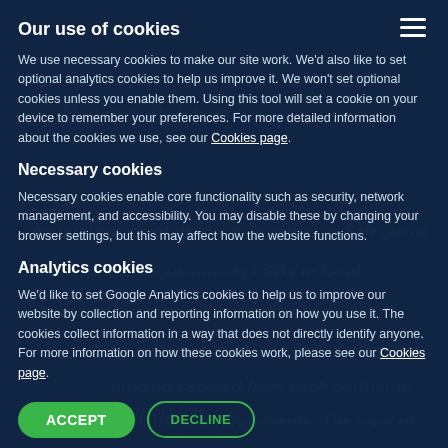Our use of cookies
We use necessary cookies to make our site work. We'd also like to set optional analytics cookies to help us improve it. We won't set optional cookies unless you enable them. Using this tool will set a cookie on your device to remember your preferences. For more detailed information about the cookies we use, see our Cookies page.
Necessary cookies
Necessary cookies enable core functionality such as security, network management, and accessibility. You may disable these by changing your browser settings, but this may affect how the website functions.
Analytics cookies
We'd like to set Google Analytics cookies to help us to improve our website by collection and reporting information on how you use it. The cookies collect information in a way that does not directly identify anyone. For more information on how these cookies work, please see our Cookies page.